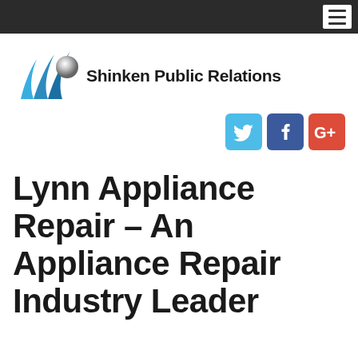Shinken Public Relations
[Figure (logo): Shinken Public Relations logo with blue swoosh/wave marks and a silver sphere, followed by the text 'Shinken Public Relations']
[Figure (infographic): Social media icons: Twitter (blue bird), Facebook (blue f), Google+ (red G+)]
Lynn Appliance Repair – An Appliance Repair Industry Leader